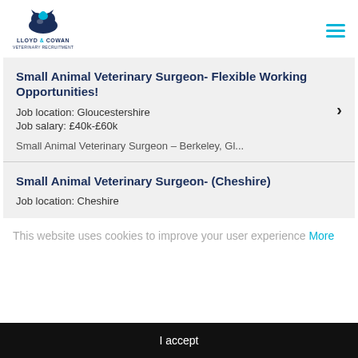Lloyd & Cowan logo and navigation
Small Animal Veterinary Surgeon- Flexible Working Opportunities!
Job location: Gloucestershire
Job salary: £40k-£60k
Small Animal Veterinary Surgeon – Berkeley, Gl...
Small Animal Veterinary Surgeon- (Cheshire)
Job location: Cheshire
This website uses cookies to improve your user experience More
I accept